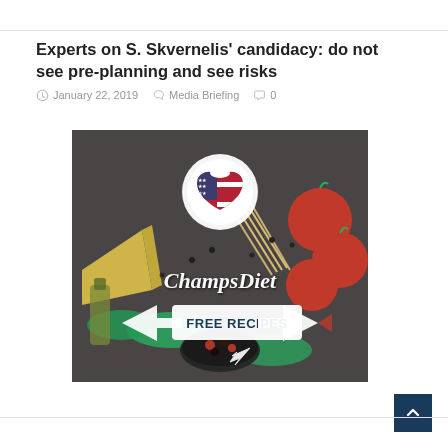Experts on S. Skvernelis' candidacy: do not see pre-planning and see risks
January 22, 2019   Media Briefing   0
[Figure (photo): ChampsDiet advertisement image showing food items (tomatoes, pasta, cheese, herbs, olive oil) on a dark background with a circular logo featuring an American flag heart, script text 'ChampsDiet', and a banner reading 'FREE RECIPES' with arrow graphics.]